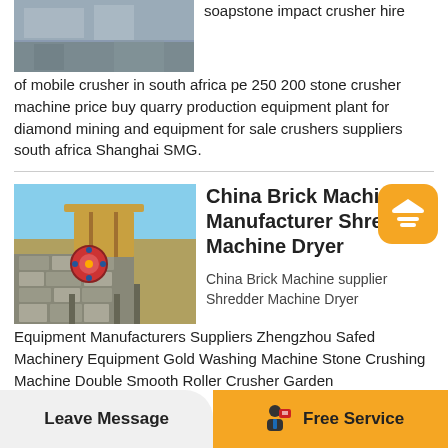[Figure (photo): Construction or mining site with machinery, top image]
soapstone impact crusher hire of mobile crusher in south africa pe 250 200 stone crusher machine price buy quarry production equipment plant for diamond mining and equipment for sale crushers suppliers south africa Shanghai SMG.
[Figure (photo): Jaw crusher / mining equipment with blue sky background]
China Brick Machine Manufacturer Shre Machine Dryer
China Brick Machine supplier Shredder Machine Dryer Equipment Manufacturers Suppliers Zhengzhou Safed Machinery Equipment Gold Washing Machine Stone Crushing Machine Double Smooth Roller Crusher Garden
Leave Message   Free Service